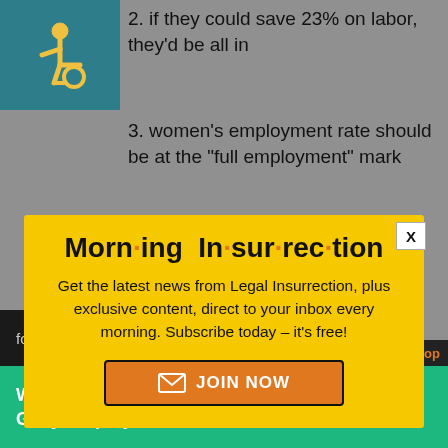2. if they could save 23% on labor, they’d be all in
3. women’s employment rate should be at the “full employment” mark
[Figure (screenshot): Accessibility icon (wheelchair symbol) in teal square]
Morn·ing In·sur·rec·tion
Get the latest news from Legal Insurrection, plus exclusive content, direct to your inbox every morning. Subscribe today – it’s free!
JOIN NOW
for 20% less.
Working from home? Get your projects done on fiverr